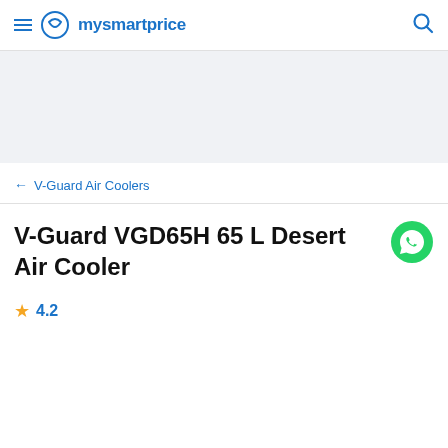mysmartprice
V-Guard Air Coolers
V-Guard VGD65H 65 L Desert Air Cooler
4.2